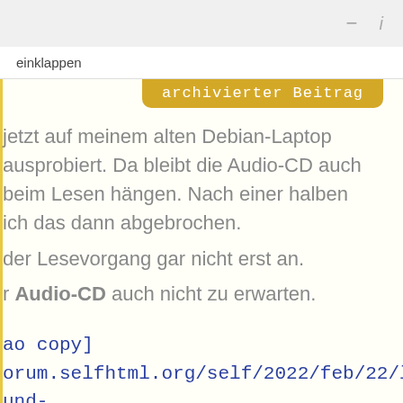- i
einklappen
archivierter Beitrag
jetzt auf meinem alten Debian-Laptop ausprobiert. Da bleibt die Audio-CD auch beim Lesen hängen. Nach einer halben ich das dann abgebrochen.
der Lesevorgang gar nicht erst an.
r Audio-CD auch nicht zu erwarten.
ao copy]
orum.selfhtml.org/self/2022/feb/22/linux-
und-
96595#m1796595) um diese zu